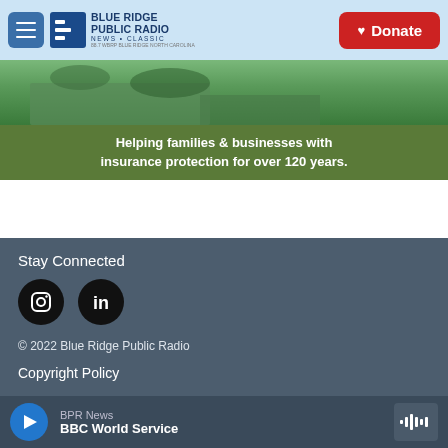Blue Ridge Public Radio — NEWS + CLASSIC | Donate
[Figure (photo): Aerial or landscape photo of building surrounded by trees with green overlay banner reading: Helping families & businesses with insurance protection for over 120 years.]
Helping families & businesses with insurance protection for over 120 years.
Stay Connected
[Figure (logo): Instagram icon (black circle with camera outline)]
[Figure (logo): LinkedIn icon (black circle with 'in')]
© 2022 Blue Ridge Public Radio
Copyright Policy
BPR News — BBC World Service (audio player)